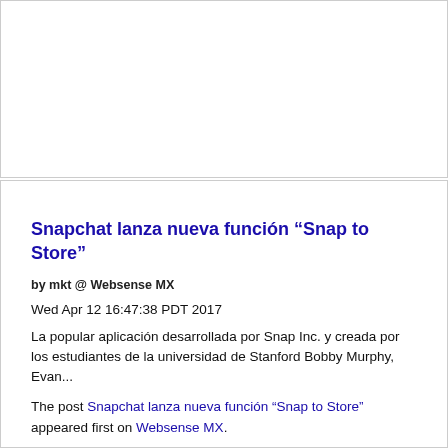[Figure (other): Blank white advertisement or image placeholder box at the top of the page]
Snapchat lanza nueva función “Snap to Store”
by mkt @ Websense MX
Wed Apr 12 16:47:38 PDT 2017
La popular aplicación desarrollada por Snap Inc. y creada por los estudiantes de la universidad de Stanford Bobby Murphy, Evan...
The post Snapchat lanza nueva función “Snap to Store” appeared first on Websense MX.